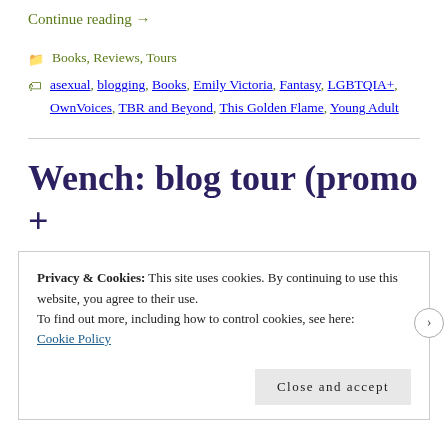Continue reading →
Books, Reviews, Tours
asexual, blogging, Books, Emily Victoria, Fantasy, LGBTQIA+, OwnVoices, TBR and Beyond, This Golden Flame, Young Adult
Wench: blog tour (promo +
Privacy & Cookies: This site uses cookies. By continuing to use this website, you agree to their use.
To find out more, including how to control cookies, see here: Cookie Policy
Close and accept